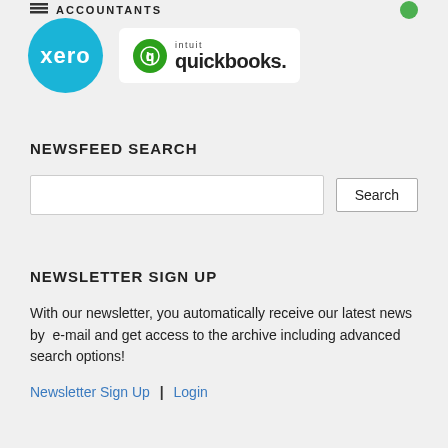[Figure (logo): Xero logo (blue circle with 'xero' text) and Intuit QuickBooks logo side by side]
NEWSFEED SEARCH
[Figure (screenshot): Search input box and Search button]
NEWSLETTER SIGN UP
With our newsletter, you automatically receive our latest news by  e-mail and get access to the archive including advanced search options!
Newsletter Sign Up | Login